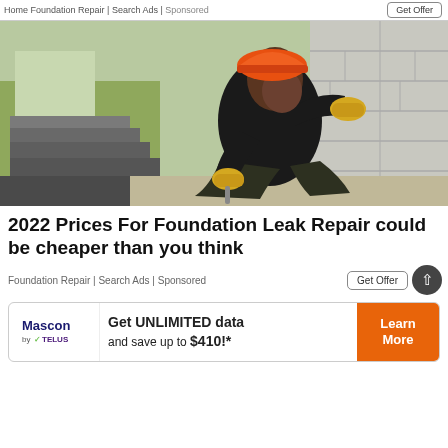Home Foundation Repair | Search Ads | Sponsored
[Figure (photo): Construction worker in orange hard hat and yellow gloves kneeling and working on a concrete/block foundation wall]
2022 Prices For Foundation Leak Repair could be cheaper than you think
Foundation Repair | Search Ads | Sponsored
[Figure (infographic): Mascon by TELUS banner ad: Get UNLIMITED data and save up to $410!* with Learn More button]